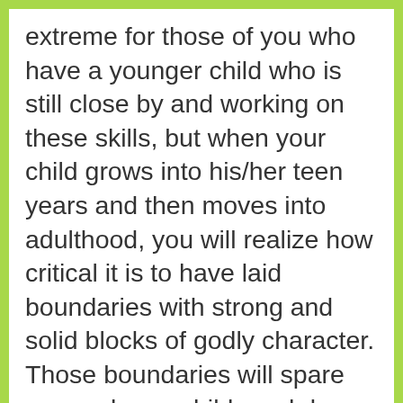extreme for those of you who have a younger child who is still close by and working on these skills, but when your child grows into his/her teen years and then moves into adulthood, you will realize how critical it is to have laid boundaries with strong and solid blocks of godly character. Those boundaries will spare you and your child much larger heartaches and pain than the training process could ever bring into your lives.